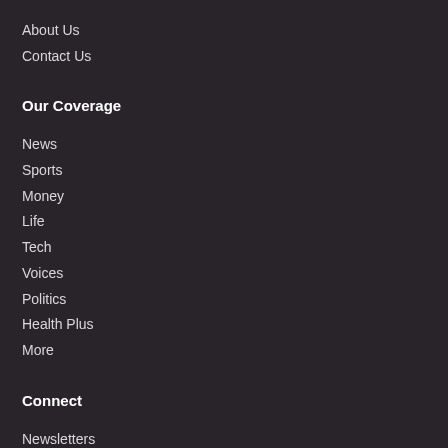About Us
Contact Us
Our Coverage
News
Sports
Money
Life
Tech
Voices
Politics
Health Plus
More
Connect
Newsletters
Now Magazine
Next Phase Magazine